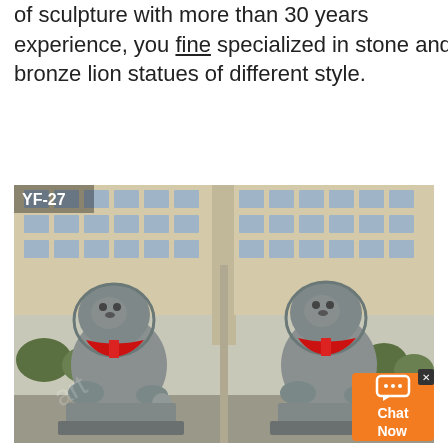of sculpture with more than 30 years experience, you fine specialized in stone and bronze lion statues of different style.
[Figure (photo): Two grey stone Fu Dog (guardian lion) statues with red ribbon scarves, placed in front of a multi-story building. Label 'YF-27' visible in top-left corner. A chat widget appears in the bottom-right corner.]